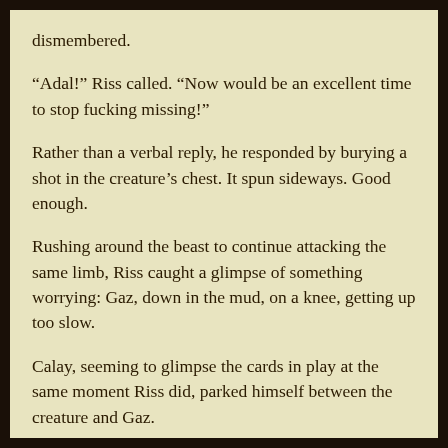dismembered.
“Adal!” Riss called. “Now would be an excellent time to stop fucking missing!”
Rather than a verbal reply, he responded by burying a shot in the creature’s chest. It spun sideways. Good enough.
Rushing around the beast to continue attacking the same limb, Riss caught a glimpse of something worrying: Gaz, down in the mud, on a knee, getting up too slow.
Calay, seeming to glimpse the cards in play at the same moment Riss did, parked himself between the creature and Gaz.
“Adalrio,” he called. “Pistol. Please. Please.”